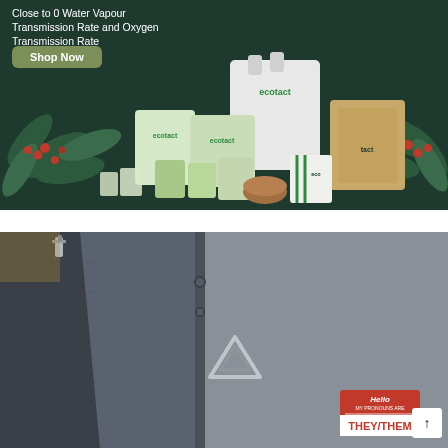[Figure (photo): Dark green advertisement banner for Ecotact branded packaging products (grain/coffee storage bags in various sizes), showing multiple bags with ecotact branding, coffee plant leaves with red berries on sides, text reading 'Close to 0 Water Vapour Transmission Rate and Oxygen Transmission Rate', and a green 'Shop Now' button]
[Figure (photo): Close-up photo of grey denim jacket fabric showing collar/lapel area, a triangular geometric metal pin/badge, and a red 'Hello my pronouns are THEY/THEM' name tag sticker in the bottom right, plus a small white scroll-up arrow button]